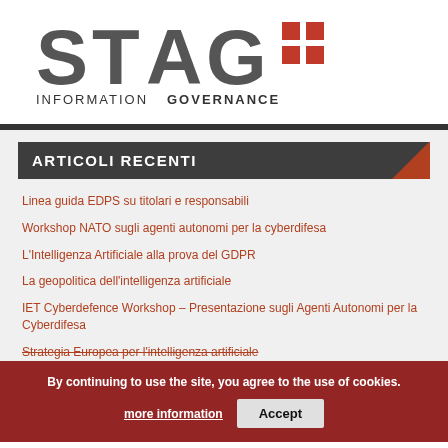[Figure (logo): STAG Information Governance logo — 'STAG' in large gray/red letters with red square dots, 'INFORMATION GOVERNANCE' below in dark gray uppercase]
ARTICOLI RECENTI
Linea guida EDPS su titolari e responsabili
Workshop NATO sugli agenti autonomi per la cyberdifesa
L'Intelligenza Artificiale alla prova del GDPR
La geopolitica dell'intelligenza artificiale
IET Cyberdefence Workshop – Presentazione sugli Agenti Autonomi per la Cyberdifesa
Strategia Europea per l'intelligenza artificiale
By continuing to use the site, you agree to the use of cookies. more information Accept